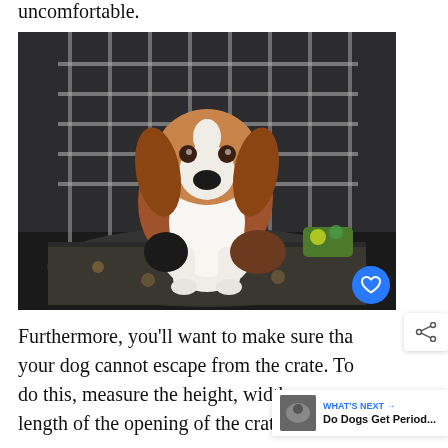uncomfortable.
[Figure (photo): A beagle puppy sitting inside an open wire dog crate on a dark paw-print patterned bed, with colorful toys visible in the back corner.]
Furthermore, you'll want to make sure that your dog cannot escape from the crate. To do this, measure the height, width and length of the opening of the crate and